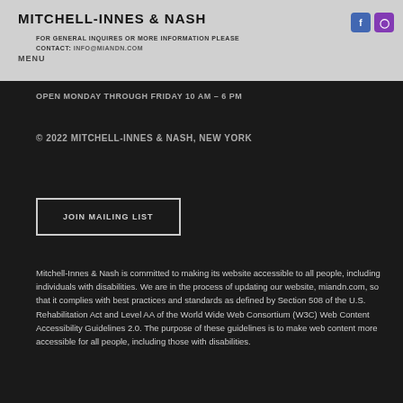MITCHELL-INNES & NASH
FOR GENERAL INQUIRES OR MORE INFORMATION PLEASE CONTACT: INFO@MIANDN.COM
MENU
OPEN MONDAY THROUGH FRIDAY 10 AM - 6 PM
© 2022 MITCHELL-INNES & NASH, NEW YORK
JOIN MAILING LIST
Mitchell-Innes & Nash is committed to making its website accessible to all people, including individuals with disabilities. We are in the process of updating our website, miandn.com, so that it complies with best practices and standards as defined by Section 508 of the U.S. Rehabilitation Act and Level AA of the World Wide Web Consortium (W3C) Web Content Accessibility Guidelines 2.0. The purpose of these guidelines is to make web content more accessible for all people, including those with disabilities.